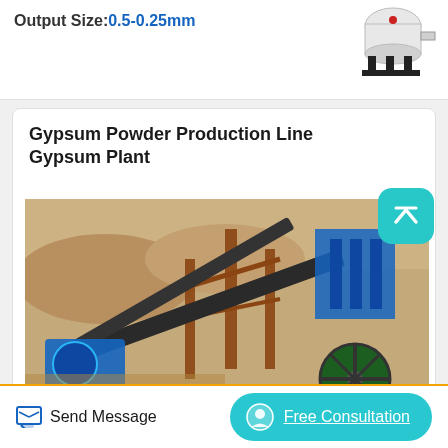Output Size:0.5-0.25mm
[Figure (photo): Industrial equipment/machine shown in top right area]
Gypsum Powder Production Line Gypsum Plant
[Figure (photo): Aerial view of a gypsum powder production line / industrial plant with conveyor belts, machinery and equipment on a construction site with sandy terrain]
Send Message
Free Consultation